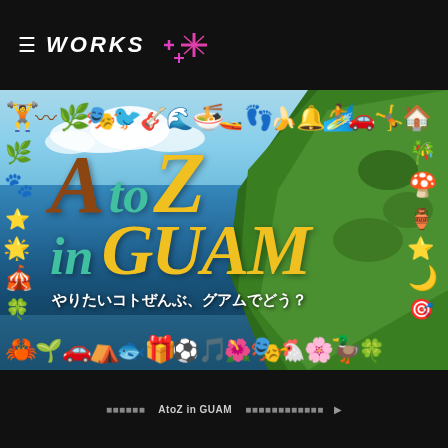≡ WORKS ✦ ✦
[Figure (photo): AtoZ in GUAM promotional image — aerial/coastal view of Guam cliffs and ocean with decorative icon borders (brown, teal, yellow illustrated icons) surrounding the photo. Large stylized text reads 'AtoZ in GUAM' with Japanese subtitle やりたいコトぜんぶ、グアムでどう？]
ホーム > WORKS > AtoZ in GUAM > グアム政府観光局 ウェブサイト制作 ▶